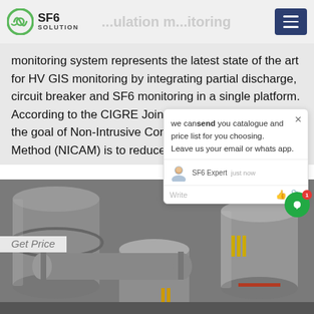SF6 SOLUTION — navigation/menu header
monitoring system represents the latest state of the art for HV GIS monitoring by integrating partial discharge, circuit breaker and SF6 monitoring in a single platform. According to the CIGRE Joint Working Group A3.32, the goal of Non-Intrusive Condition Assessment Method (NICAM) is to reduce the
Get Price
[Figure (photo): Industrial GIS (Gas Insulated Switchgear) equipment showing large cylindrical grey metal tubes and flanges in an indoor facility]
[Figure (screenshot): Chat popup widget showing message: 'we can send you catalogue and price list for you choosing. Leave us your email or whatsapp.' with SF6 Expert agent listed as 'just now']